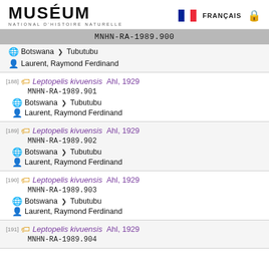MUSÉUM NATIONAL D'HISTOIRE NATURELLE — FRANÇAIS
MNHN-RA-1989.900
Botswana > Tubutubu
Laurent, Raymond Ferdinand
[188] Leptopelis kivuensis Ahl, 1929 — MNHN-RA-1989.901 — Botswana > Tubutubu — Laurent, Raymond Ferdinand
[189] Leptopelis kivuensis Ahl, 1929 — MNHN-RA-1989.902 — Botswana > Tubutubu — Laurent, Raymond Ferdinand
[190] Leptopelis kivuensis Ahl, 1929 — MNHN-RA-1989.903 — Botswana > Tubutubu — Laurent, Raymond Ferdinand
[191] Leptopelis kivuensis Ahl, 1929 — MNHN-RA-1989.904